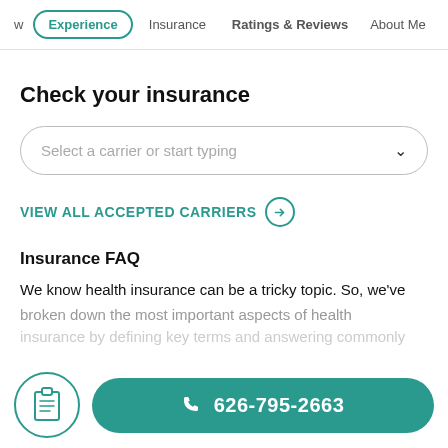w | Experience | Insurance | Ratings & Reviews | About Me
Check your insurance
Select a carrier or start typing
VIEW ALL ACCEPTED CARRIERS →
Insurance FAQ
We know health insurance can be a tricky topic. So, we've broken down the most important aspects of health insurance by defining key terms and answering commonly
626-795-2663